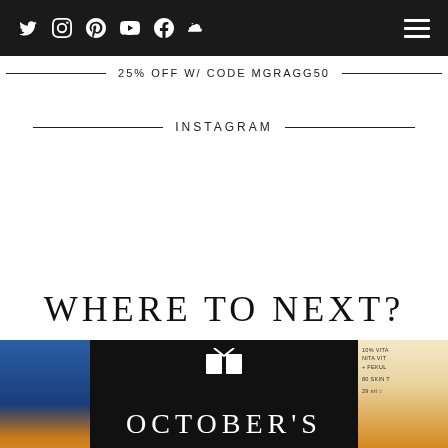Navigation bar with social icons: Twitter, Instagram, Pinterest, YouTube, Facebook, SoundCloud, and hamburger menu
25% OFF W/ CODE MGRAGG50
INSTAGRAM
WHERE TO NEXT?
[Figure (screenshot): Bottom strip with three panels: left panel showing blue jewelry/accessories, center dark panel with icon and text 'OCTOBER'S', right panel with product packaging text]